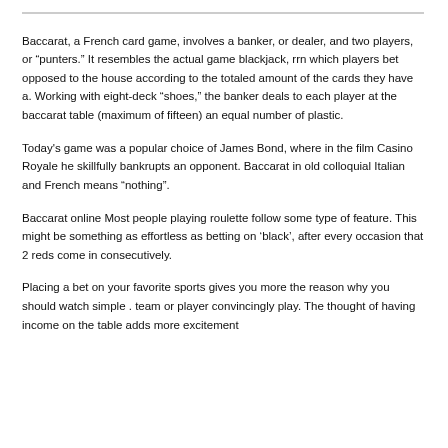Baccarat, a French card game, involves a banker, or dealer, and two players, or “punters.” It resembles the actual game blackjack, rrn which players bet opposed to the house according to the totaled amount of the cards they have a. Working with eight-deck “shoes,” the banker deals to each player at the baccarat table (maximum of fifteen) an equal number of plastic.
Today's game was a popular choice of James Bond, where in the film Casino Royale he skillfully bankrupts an opponent. Baccarat in old colloquial Italian and French means “nothing”.
Baccarat online Most people playing roulette follow some type of feature. This might be something as effortless as betting on ‘black’, after every occasion that 2 reds come in consecutively.
Placing a bet on your favorite sports gives you more the reason why you should watch simple . team or player convincingly play. The thought of having income on the table adds more excitement